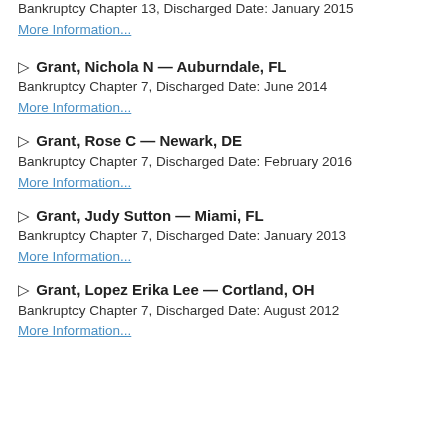Bankruptcy Chapter 13, Discharged Date: January 2015
More Information...
Grant, Nichola N — Auburndale, FL
Bankruptcy Chapter 7, Discharged Date: June 2014
More Information...
Grant, Rose C — Newark, DE
Bankruptcy Chapter 7, Discharged Date: February 2016
More Information...
Grant, Judy Sutton — Miami, FL
Bankruptcy Chapter 7, Discharged Date: January 2013
More Information...
Grant, Lopez Erika Lee — Cortland, OH
Bankruptcy Chapter 7, Discharged Date: August 2012
More Information...